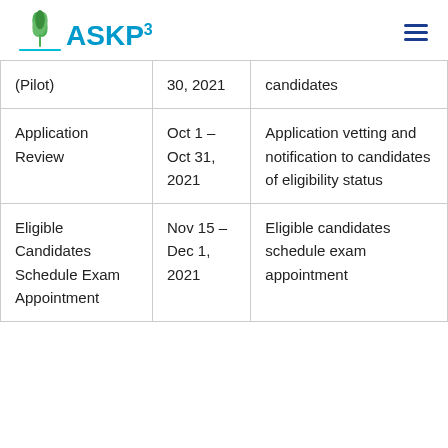[Figure (logo): ASKP3 logo with green leaf icon and blue text]
| Phase | Date | Description |
| --- | --- | --- |
| (Pilot) | 30, 2021 | candidates |
| Application Review | Oct 1 –
Oct 31,
2021 | Application vetting and notification to candidates of eligibility status |
| Eligible Candidates Schedule Exam Appointment | Nov 15 –
Dec 1,
2021 | Eligible candidates schedule exam appointment |